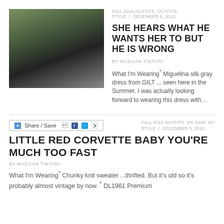[Figure (photo): Outdoor photo of a woman walking, wearing a gray silk dress, dark tights, and carrying a black bag, with trees and a path in the background.]
FALL 2010 OUTFITS, OUTFITS, STYLE / DECEMBER 8, 2010
SHE HEARS WHAT HE WANTS HER TO BUT HE IS WRONG
BY MAEGAN TINTARI
What I'm Wearing* Miguelina silk gray dress from GILT ... seen here in the Summer. I was actually looking forward to wearing this dress with…
Share / Save
FALL 2010 OUTFITS, MY HAIR, MY STYLE / DECEMBER 3, 2010
LITTLE RED CORVETTE BABY YOU'RE MUCH TOO FAST
BY MAEGAN TINTARI
What I'm Wearing* Chunky knit sweater ...thrifted. But it's old so it's probably almost vintage by now. * DL1961 Premium